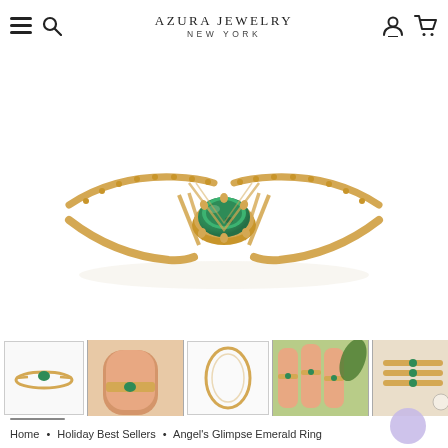AZURA JEWELRY NEW YORK
[Figure (photo): Close-up of a gold ring with a green emerald center stone set in a vintage-style milgrain band with split shank, on white background]
[Figure (photo): Five thumbnail images of the Angel's Glimpse Emerald Ring showing different angles and styling]
Home • Holiday Best Sellers • Angel's Glimpse Emerald Ring